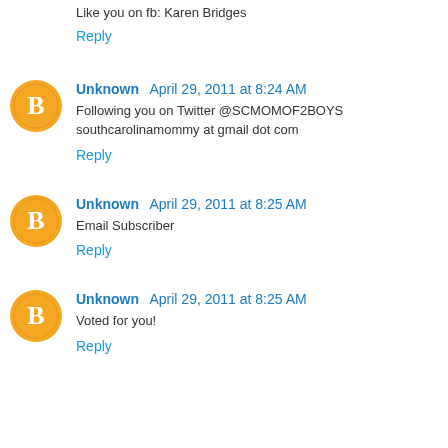Like you on fb: Karen Bridges
Reply
Unknown April 29, 2011 at 8:24 AM
Following you on Twitter @SCMOMOF2BOYS southcarolinamommy at gmail dot com
Reply
Unknown April 29, 2011 at 8:25 AM
Email Subscriber
Reply
Unknown April 29, 2011 at 8:25 AM
Voted for you!
Reply